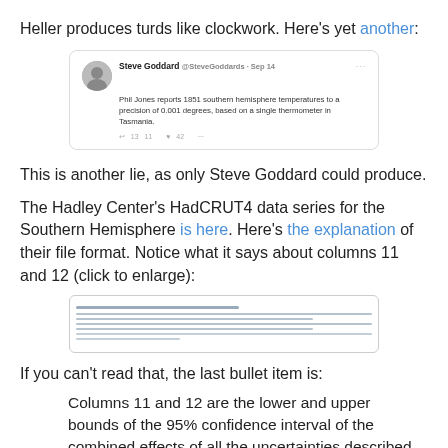Heller produces turds like clockwork. Here's yet another:
[Figure (screenshot): Screenshot of a tweet by Steve Goddard (@SteveGoddards) dated Sep 14, reading: 'Phil Jones reports 1851 southern hemisphere temperatures to a precision of 0.001 degrees, based on a single thermometer in Tasmania.']
This is another lie, as only Steve Goddard could produce.
The Hadley Center's HadCRUT4 data series for the Southern Hemisphere is here. Here's the explanation of their file format. Notice what it says about columns 11 and 12 (click to enlarge):
[Figure (screenshot): Screenshot of a text document showing the HadCRUT4 file format explanation with bullet points about columns 11 and 12.]
If you can't read that, the last bullet item is:
Columns 11 and 12 are the lower and upper bounds of the 95% confidence interval of the combined effects of all the uncertainties described in the HadCRUT4 error model.